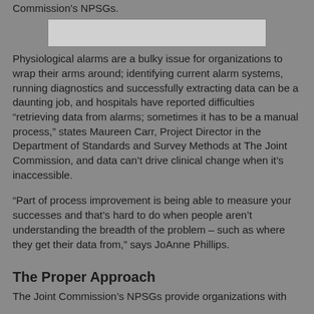Commission's NPSGs.
[Figure (other): Redacted white box/banner]
Physiological alarms are a bulky issue for organizations to wrap their arms around; identifying current alarm systems, running diagnostics and successfully extracting data can be a daunting job, and hospitals have reported difficulties “retrieving data from alarms; sometimes it has to be a manual process,” states Maureen Carr, Project Director in the Department of Standards and Survey Methods at The Joint Commission, and data can’t drive clinical change when it’s inaccessible.
“Part of process improvement is being able to measure your successes and that’s hard to do when people aren’t understanding the breadth of the problem – such as where they get their data from,” says JoAnne Phillips.
The Proper Approach
The Joint Commission’s NPSGs provide organizations with